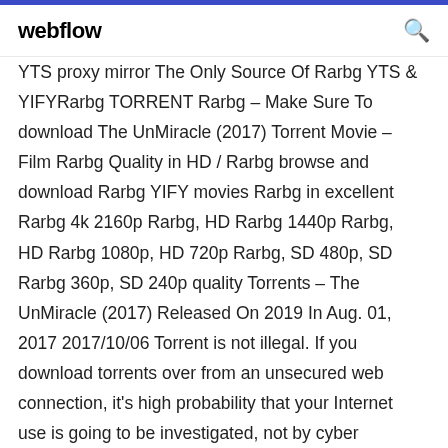webflow
YTS proxy mirror The Only Source Of Rarbg YTS & YIFYRarbg TORRENT Rarbg – Make Sure To download The UnMiracle (2017) Torrent Movie – Film Rarbg Quality in HD / Rarbg browse and download Rarbg YIFY movies Rarbg in excellent Rarbg 4k 2160p Rarbg, HD Rarbg 1440p Rarbg, HD Rarbg 1080p, HD 720p Rarbg, SD 480p, SD Rarbg 360p, SD 240p quality Torrents – The UnMiracle (2017) Released On 2019 In Aug. 01, 2017 2017/10/06 Torrent is not illegal. If you download torrents over from an unsecured web connection, it's high probability that your Internet use is going to be investigated, not by cyber security, but by hackers. Locating a website for torrenting is a